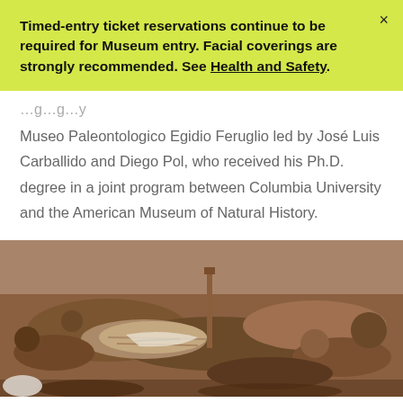Timed-entry ticket reservations continue to be required for Museum entry. Facial coverings are strongly recommended. See Health and Safety.
Museo Paleontologico Egidio Feruglio led by José Luis Carballido and Diego Pol, who received his Ph.D. degree in a joint program between Columbia University and the American Museum of Natural History.
[Figure (photo): Outdoor excavation site showing large fossilized dinosaur bones embedded in reddish-brown sandy soil/rock, with a wooden stake visible in the background]